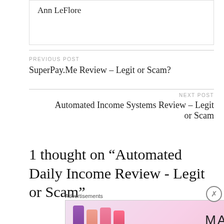Ann LeFlore
PREVIOUS POST
SuperPay.Me Review – Legit or Scam?
NEXT POST
Automated Income Systems Review – Legit or Scam
1 thought on “Automated Daily Income Review - Legit or Scam”
Advertisements
[Figure (photo): MAC cosmetics advertisement banner showing lipsticks in purple, peach, and pink colors, MAC logo, and a SHOP NOW box]